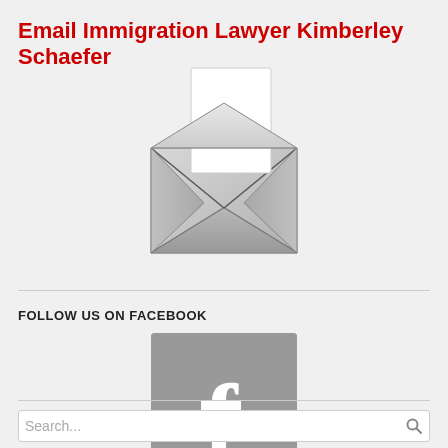Email Immigration Lawyer Kimberley Schaefer
[Figure (illustration): Silver/metallic open envelope icon with a white letter/card sticking out the top, displayed on a light gray background.]
FOLLOW US ON FACEBOOK
[Figure (logo): Gray square with rounded corners containing a white Facebook 'f' logo in the center.]
Search...